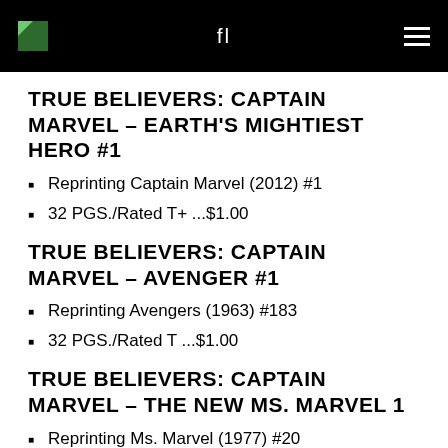fl ≡
TRUE BELIEVERS: CAPTAIN MARVEL – EARTH'S MIGHTIEST HERO #1
Reprinting Captain Marvel (2012) #1
32 PGS./Rated T+ ...$1.00
TRUE BELIEVERS: CAPTAIN MARVEL – AVENGER #1
Reprinting Avengers (1963) #183
32 PGS./Rated T ...$1.00
TRUE BELIEVERS: CAPTAIN MARVEL – THE NEW MS. MARVEL 1
Reprinting Ms. Marvel (1977) #20